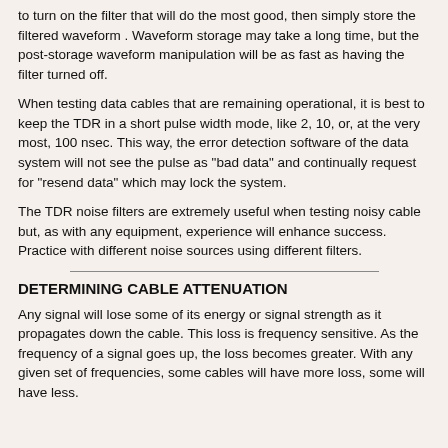to turn on the filter that will do the most good, then simply store the filtered waveform . Waveform storage may take a long time, but the post-storage waveform manipulation will be as fast as having the filter turned off.
When testing data cables that are remaining operational, it is best to keep the TDR in a short pulse width mode, like 2, 10, or, at the very most, 100 nsec. This way, the error detection software of the data system will not see the pulse as "bad data" and continually request for "resend data" which may lock the system.
The TDR noise filters are extremely useful when testing noisy cable but, as with any equipment, experience will enhance success. Practice with different noise sources using different filters.
DETERMINING CABLE ATTENUATION
Any signal will lose some of its energy or signal strength as it propagates down the cable. This loss is frequency sensitive. As the frequency of a signal goes up, the loss becomes greater. With any given set of frequencies, some cables will have more loss, some will have less.